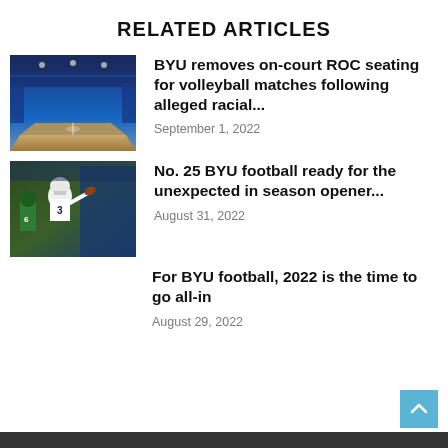RELATED ARTICLES
[Figure (photo): Indoor volleyball/sports arena with blue court and seating]
BYU removes on-court ROC seating for volleyball matches following alleged racial...
September 1, 2022
[Figure (photo): BYU football player number 3 throwing a pass during a game]
No. 25 BYU football ready for the unexpected in season opener...
August 31, 2022
For BYU football, 2022 is the time to go all-in
August 29, 2022